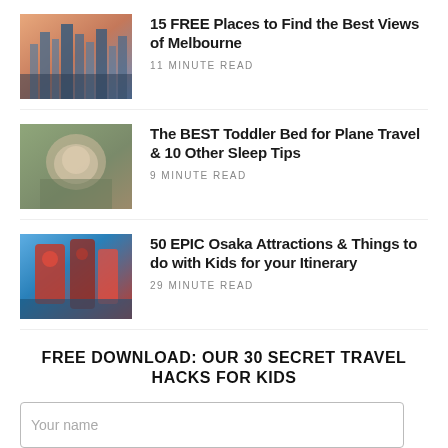[Figure (photo): Aerial photo of Melbourne skyline at dusk with city buildings and orange sky]
15 FREE Places to Find the Best Views of Melbourne
11 MINUTE READ
[Figure (photo): Child sleeping on a plane with a toddler travel bed pillow]
The BEST Toddler Bed for Plane Travel & 10 Other Sleep Tips
9 MINUTE READ
[Figure (photo): Colorful Osaka attraction featuring large robot/mech figures]
50 EPIC Osaka Attractions & Things to do with Kids for your Itinerary
29 MINUTE READ
FREE DOWNLOAD: OUR 30 SECRET TRAVEL HACKS FOR KIDS
Your name